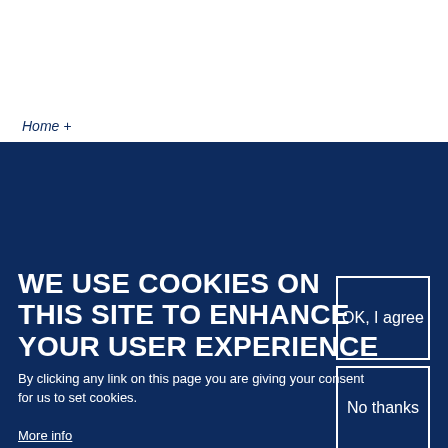CHRIST'S
COLLEGE
Tennis
Ultimate Frisbee
WE USE COOKIES ON THIS SITE TO ENHANCE YOUR USER EXPERIENCE
By clicking any link on this page you are giving your consent for us to set cookies.
More info